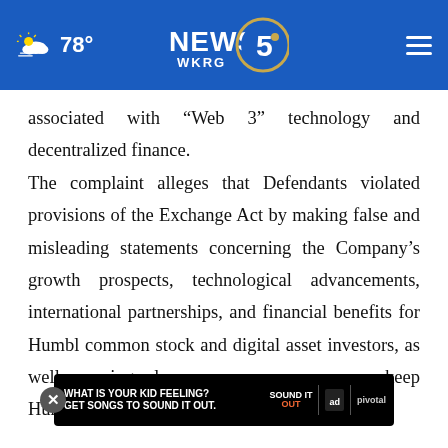78° NEWS 5 WKRG
associated with “Web 3” technology and decentralized finance.

The complaint alleges that Defendants violated provisions of the Exchange Act by making false and misleading statements concerning the Company’s growth prospects, technological advancements, international partnerships, and financial benefits for Humbl common stock and digital asset investors, as well using selec keep Humbl stock price high so that Company
[Figure (other): Advertisement banner: 'WHAT IS YOUR KID FEELING? GET SONGS TO SOUND IT OUT.' with Sound It Out logo, ad council and pivotal logos on black background]